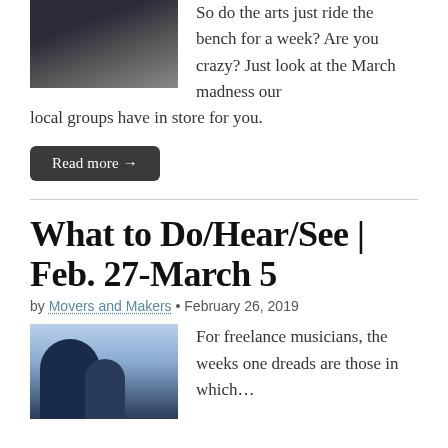[Figure (photo): Photo of musicians, one holding a violin, dark background]
So do the arts just ride the bench for a week? Are you crazy? Just look at the March madness our local groups have in store for you.
Read more →
What to Do/Hear/See | Feb. 27-March 5
by Movers and Makers • February 26, 2019
[Figure (photo): Photo of a man wearing a crown and a woman in formal attire, light blue background]
For freelance musicians, the weeks one dreads are those in which...